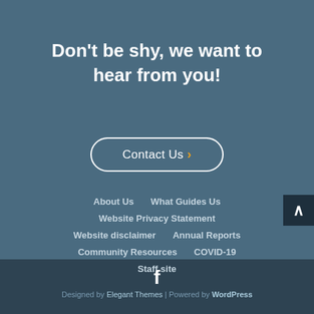Don't be shy, we want to hear from you!
Contact Us ›
About Us
What Guides Us
Website Privacy Statement
Website disclaimer
Annual Reports
Community Resources
COVID-19
Staff site
[Figure (logo): Facebook icon]
Designed by Elegant Themes | Powered by WordPress